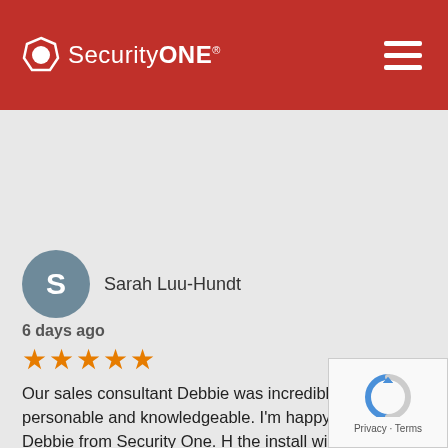[Figure (logo): SecurityONE logo with octagon shield icon on red header bar, plus hamburger menu icon on right]
Sarah Luu-Hundt
6 days ago
★★★★★ (5 stars)
Our sales consultant Debbie was incredible, very personable and knowledgeable. I'm happy to have met Debbie from Security One. H... the install will go smoothly and the installer is just as helpful and knowledgeable.
[Figure (logo): Google G logo icon]
[Figure (other): reCAPTCHA Privacy - Terms box]